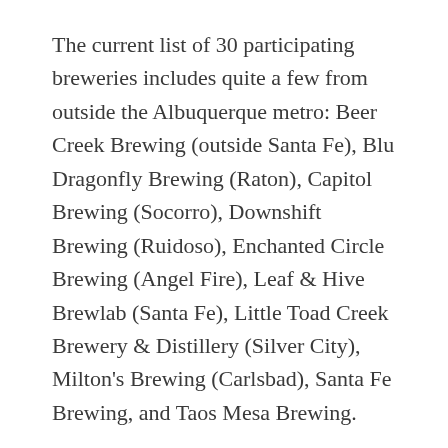The current list of 30 participating breweries includes quite a few from outside the Albuquerque metro: Beer Creek Brewing (outside Santa Fe), Blu Dragonfly Brewing (Raton), Capitol Brewing (Socorro), Downshift Brewing (Ruidoso), Enchanted Circle Brewing (Angel Fire), Leaf & Hive Brewlab (Santa Fe), Little Toad Creek Brewery & Distillery (Silver City), Milton's Brewing (Carlsbad), Santa Fe Brewing, and Taos Mesa Brewing.
They will be joined by local stalwarts Boxing Bear Brewing, Brew Lab 101, Canteen Brewhouse, Ex Novo Brewing, JUNO Brewery, Kilt Check Brewing, Late Shift